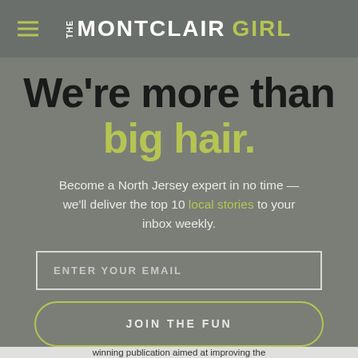THE MONTCLAIR GIRL
We're more than big hair.
Become a North Jersey expert in no time — we'll deliver the top 10 local stories to your inbox weekly.
ENTER YOUR EMAIL
JOIN THE FUN
winning publication aimed at improving the